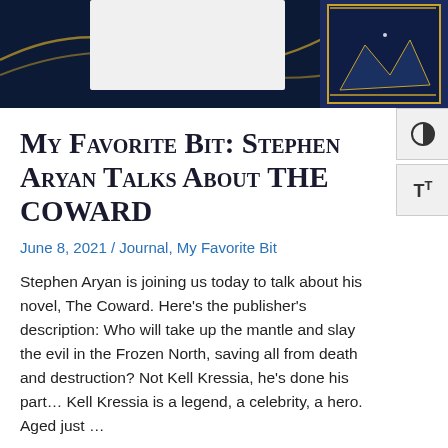[Figure (photo): Book cover image for The Coward by Stephen Aryan, shown against a dark navy blue background with gold decorative elements. The top portion shows the book cover with mountain/night imagery.]
My Favorite Bit: Stephen Aryan Talks About THE COWARD
June 8, 2021 / Journal, My Favorite Bit
Stephen Aryan is joining us today to talk about his novel, The Coward. Here's the publisher's description: Who will take up the mantle and slay the evil in the Frozen North, saving all from death and destruction? Not Kell Kressia, he's done his part… Kell Kressia is a legend, a celebrity, a hero. Aged just …
Read More »